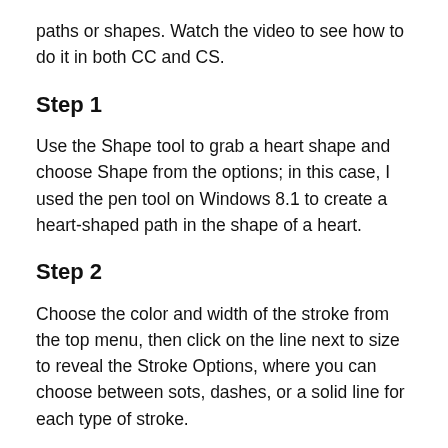paths or shapes. Watch the video to see how to do it in both CC and CS.
Step 1
Use the Shape tool to grab a heart shape and choose Shape from the options; in this case, I used the pen tool on Windows 8.1 to create a heart-shaped path in the shape of a heart.
Step 2
Choose the color and width of the stroke from the top menu, then click on the line next to size to reveal the Stroke Options, where you can choose between sots, dashes, or a solid line for each type of stroke.